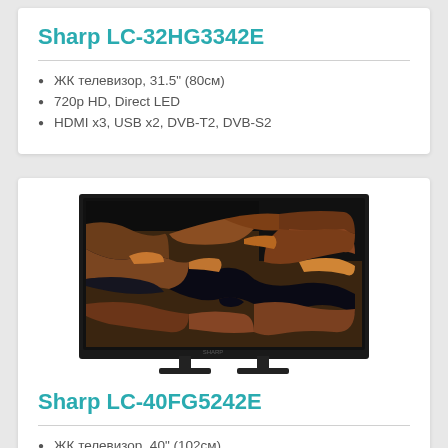Sharp LC-32HG3342E
ЖК телевизор, 31.5" (80см)
720p HD, Direct LED
HDMI x3, USB x2, DVB-T2, DVB-S2
[Figure (photo): Sharp LC-40FG5242E television set displaying aerial/satellite view of a river landscape]
Sharp LC-40FG5242E
ЖК телевизор, 40" (102см)
1080p Full HD, Direct LED
Smart TV, Wi-Fi